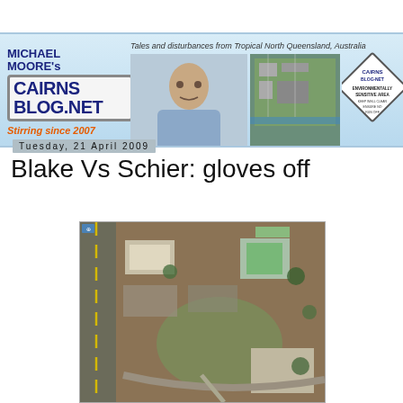[Figure (illustration): Michael Moore's Cairns Blog.net banner header with tagline 'Tales and disturbances from Tropical North Queensland, Australia', photo of a man, aerial photo of Cairns city, and a diamond-shaped sign reading 'Cairns Blog.net Environmentally Sensitive Area'. Text includes 'Stirring since 2007'.]
Tuesday, 21 April 2009
Blake Vs Schier: gloves off
[Figure (photo): Aerial satellite view of a sports facility or school campus with buildings, oval/track area, and surrounding roads and fields.]